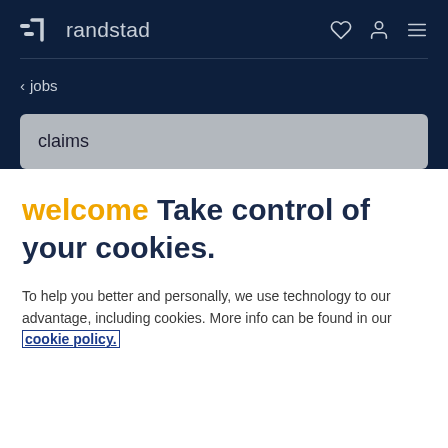randstad
‹ jobs
claims
welcome Take control of your cookies.
To help you better and personally, we use technology to our advantage, including cookies. More info can be found in our cookie policy.